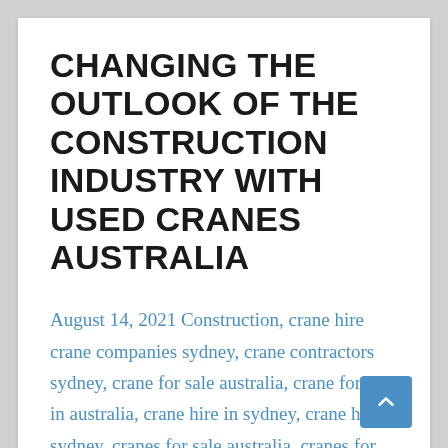CHANGING THE OUTLOOK OF THE CONSTRUCTION INDUSTRY WITH USED CRANES AUSTRALIA
August 14, 2021 Construction, crane hire crane companies sydney, crane contractors sydney, crane for sale australia, crane for sale in australia, crane hire in sydney, crane hire sydney, cranes for sale australia, cranes for sale in australia, cranes for sale nsw, cranes